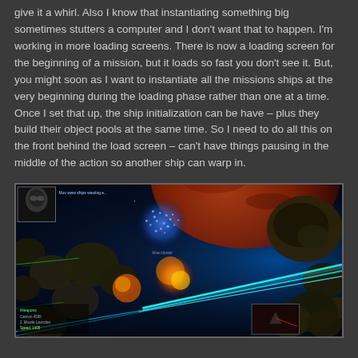give it a whirl. Also I know that instantiating something big sometimes stutters a computer and I don't want that to happen. I'm working in more loading screens. There is now a loading screen for the beginning of a mission, but it loads so fast you don't see it. But, you might soon as I want to instantiate all the missions ships at the very beginning during the loading phase rather than one at a time. Once I set that up, the ship initialization can be have – plus they build their object pools at the same time. So I need to do all this on the front behind the load screen – can't have things pausing in the middle of the action so another ship can warp in.
[Figure (screenshot): A space game screenshot showing a space battle scene with asteroids, a planet or moon in the background, cyan laser beams firing from a ship, orange explosion effects, and various UI elements including a character portrait in the top-left corner and ship status information in the bottom-left.]